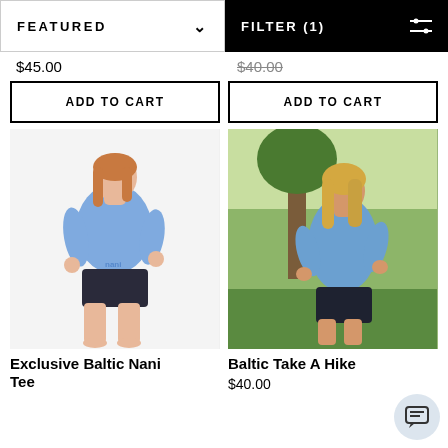FEATURED  |  FILTER (1)
$45.00
$40.00
ADD TO CART
ADD TO CART
[Figure (photo): Woman wearing blue Exclusive Baltic Nani Tee shirt and dark shorts, posed against white background]
[Figure (photo): Woman wearing blue Baltic Take A Hike tee shirt and dark shorts, posed outdoors near trees]
Exclusive Baltic Nani Tee
Baltic Take A Hike
$40.00